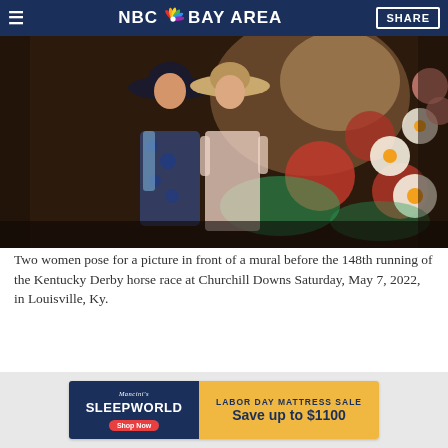NBC Bay Area | SHARE
[Figure (photo): Two women posing in front of a colorful horse and flowers mural before the Kentucky Derby, one wearing a blue floral dress with a dark hat, the other wearing a pink dress with a tan wide-brim hat.]
Two women pose for a picture in front of a mural before the 148th running of the Kentucky Derby horse race at Churchill Downs Saturday, May 7, 2022, in Louisville, Ky.
[Figure (other): Mancini's Sleepworld advertisement banner — LABOR DAY MATTRESS SALE Save up to $1100, Shop Now button]